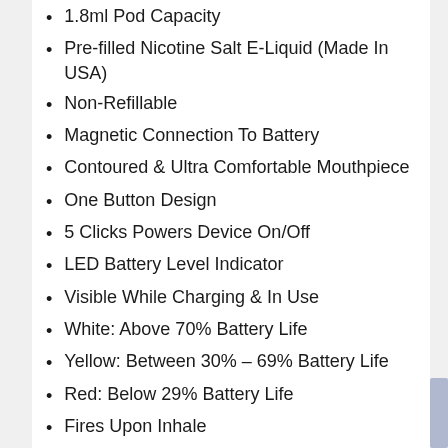1.8ml Pod Capacity
Pre-filled Nicotine Salt E-Liquid (Made In USA)
Non-Refillable
Magnetic Connection To Battery
Contoured & Ultra Comfortable Mouthpiece
One Button Design
5 Clicks Powers Device On/Off
LED Battery Level Indicator
Visible While Charging & In Use
White: Above 70% Battery Life
Yellow: Between 30% – 69% Battery Life
Red: Below 29% Battery Life
Fires Upon Inhale
Restricted Mouth To Lung Vape
Auto Temperature Control